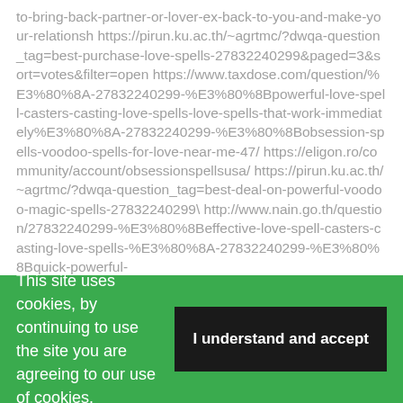to-bring-back-partner-or-lover-ex-back-to-you-and-make-your-relationsh https://pirun.ku.ac.th/~agrtmc/?dwqa-question_tag=best-purchase-love-spells-27832240299&paged=3&sort=votes&filter=open https://www.taxdose.com/question/%E3%80%8A-27832240299-%E3%80%8Bpowerful-love-spell-casters-casting-love-spells-love-spells-that-work-immediately%E3%80%8A-27832240299-%E3%80%8Bobsession-spells-voodoo-spells-for-love-near-me-47/ https://eligon.ro/community/account/obsessionspellsusa/ https://pirun.ku.ac.th/~agrtmc/?dwqa-question_tag=best-deal-on-powerful-voodoo-magic-spells-27832240299\ http://www.nain.go.th/question/27832240299-%E3%80%8Beffective-love-spell-casters-casting-love-spells-%E3%80%8A-27832240299-%E3%80%8Bquick-powerful-
This site uses cookies, by continuing to use the site you are agreeing to our use of cookies.
I understand and accept